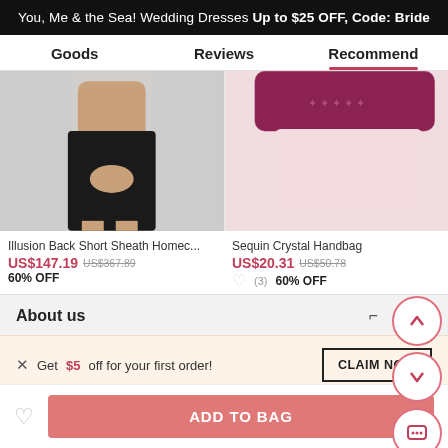You, Me & the Sea! Wedding Dresses Up to $25 OFF, Code: Bride
Goods | Reviews | Recommend
[Figure (photo): Product photo of a model wearing a short black sheath dress, cropped at the torso and legs]
[Figure (photo): Product photo of a sparkly sequin crystal handbag in dark pink/maroon color on a light pink background]
Illusion Back Short Sheath Homec...
Sequin Crystal Handbag
US$147.19  US$367.89
60% OFF
US$20.31  US$50.78
60% OFF
About us
Get $5 off for your first order!
CLAIM NOW
ADD TO BAG